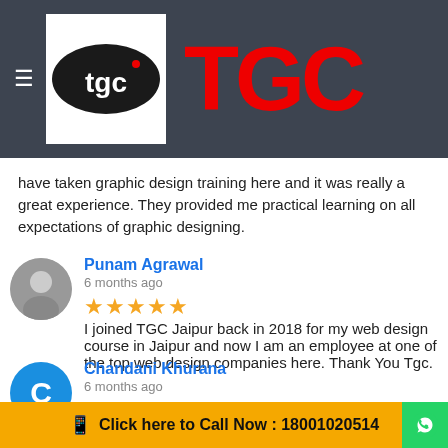[Figure (logo): TGC logo: black oval with 'tgc' text in white, next to large red bold TGC text on dark grey header bar]
have taken graphic design training here and it was really a great experience. They provided me practical learning on all expectations of graphic designing.
Punam Agrawal
6 months ago
★★★★★ I joined TGC Jaipur back in 2018 for my web design course in Jaipur and now I am an employee at one of the top web design companies here. Thank You Tgc.
Chandani Khurana
6 months ago
★★★★★ Environment and faculty of institute are awesome. In this branch faculties are hard-working and support there students and motivate them to increase more creativity. Teachers care about career and give better
Click here to Call Now : 18001020514